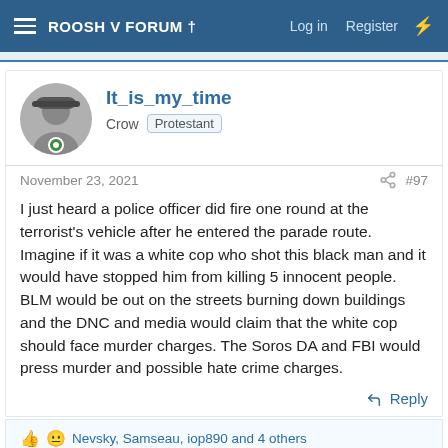ROOSH V FORUM †  Log in  Register
It_is_my_time
Crow  Protestant
November 23, 2021  #97
I just heard a police officer did fire one round at the terrorist's vehicle after he entered the parade route. Imagine if it was a white cop who shot this black man and it would have stopped him from killing 5 innocent people. BLM would be out on the streets burning down buildings and the DNC and media would claim that the white cop should face murder charges. The Soros DA and FBI would press murder and possible hate crime charges.
Reply
👍 😐 Nevsky, Samseau, iop890 and 4 others